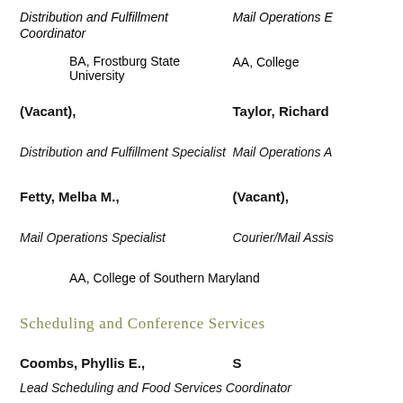Distribution and Fulfillment Coordinator
Mail Operations E...
BA, Frostburg State University
AA, College...
(Vacant),
Taylor, Richard...
Distribution and Fulfillment Specialist
Mail Operations A...
Fetty, Melba M.,
(Vacant),
Mail Operations Specialist
Courier/Mail Assis...
AA, College of Southern Maryland
Scheduling and Conference Services
Coombs, Phyllis E.,
Lead Scheduling and Food Services Coordinator
Jones, Margaret M...